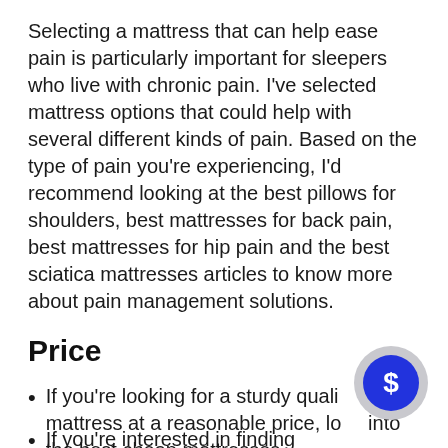Selecting a mattress that can help ease pain is particularly important for sleepers who live with chronic pain. I've selected mattress options that could help with several different kinds of pain. Based on the type of pain you're experiencing, I'd recommend looking at the best pillows for shoulders, best mattresses for back pain, best mattresses for hip pain and the best sciatica mattresses articles to know more about pain management solutions.
Price
If you're looking for a sturdy quality mattress at a reasonable price, look into the best cheap mattresses.
If you're interested in finding which...